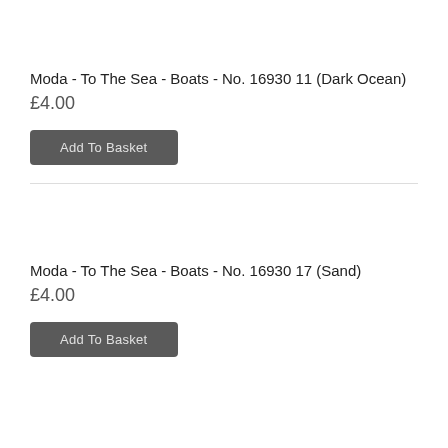Moda - To The Sea - Boats - No. 16930 11 (Dark Ocean)
£4.00
Add To Basket
Moda - To The Sea - Boats - No. 16930 17 (Sand)
£4.00
Add To Basket